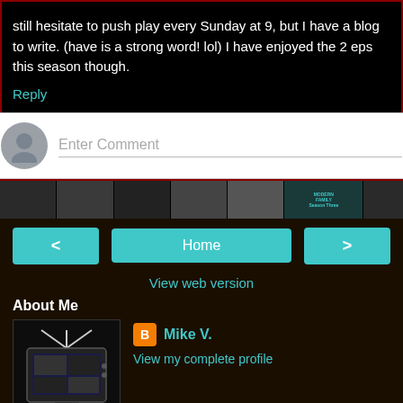still hesitate to push play every Sunday at 9, but I have a blog to write. (have is a strong word! lol) I have enjoyed the 2 eps this season though.
Reply
[Figure (screenshot): Comment input box with avatar placeholder and 'Enter Comment' placeholder text]
[Figure (photo): Horizontal film strip of TV show promotional images]
< (previous) | Home | > (next) navigation buttons
View web version
About Me
[Figure (logo): TV Addicts Blog logo with TV antenna graphic]
Mike V.
View my complete profile
Powered by Blogger.